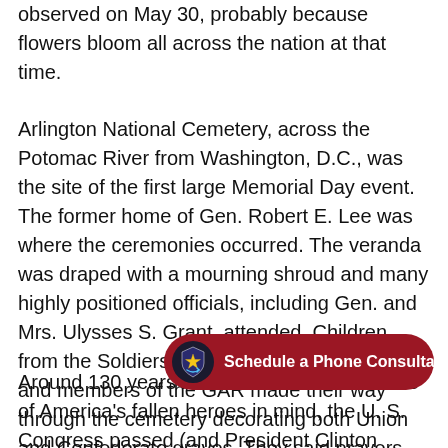observed on May 30, probably because flowers bloom all across the nation at that time.
Arlington National Cemetery, across the Potomac River from Washington, D.C., was the site of the first large Memorial Day event. The former home of Gen. Robert E. Lee was where the ceremonies occurred. The veranda was draped with a mourning shroud and many highly positioned officials, including Gen. and Mrs. Ulysses S. Grant, attended. Children from the Soldiers' and Sailors' Orphan Home and members of the GAR made their way through the cemetery decorating both Union and Confederate graves. They said prayers and sang hymns.
Around 130 years later, to keep the sacrifices of America's fallen heroes in mind, the U.S. Congress passed (and President Clinton signed into law) "The National Moment of Remembrance Act,"